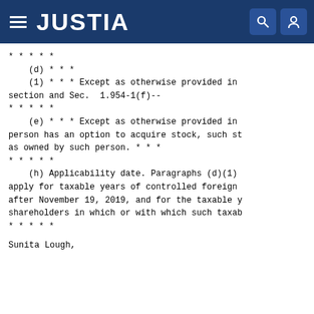JUSTIA
* * * * *
    (d) * * *
    (1) * * * Except as otherwise provided in
section and Sec.  1.954-1(f)--
* * * * *
    (e) * * * Except as otherwise provided in
person has an option to acquire stock, such st
as owned by such person. * * *
* * * * *
    (h) Applicability date. Paragraphs (d)(1)
apply for taxable years of controlled foreign
after November 19, 2019, and for the taxable y
shareholders in which or with which such taxab
* * * * *
Sunita Lough,